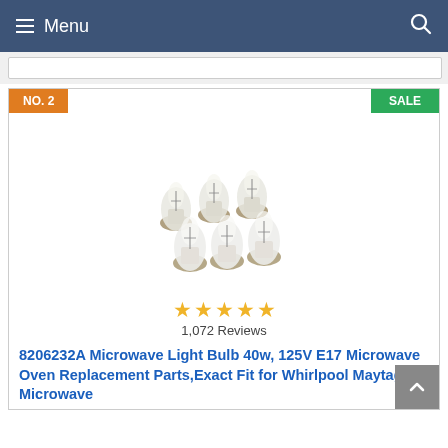Menu
NO. 2
SALE
[Figure (photo): Six clear glass microwave light bulbs with metallic bases, arranged in two rows of three]
1,072 Reviews
8206232A Microwave Light Bulb 40w, 125V E17 Microwave Oven Replacement Parts,Exact Fit for Whirlpool Maytag Microwave (also known as Jenn-Air, Dacor, & Amana)